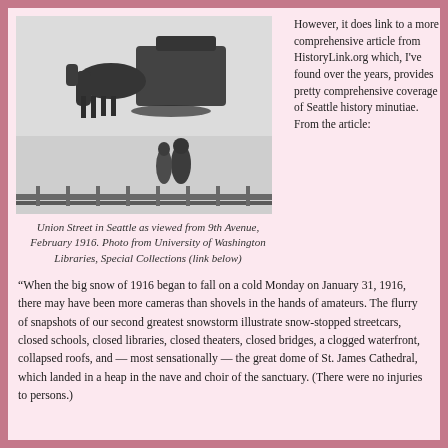[Figure (photo): Black and white historical photograph showing a horse-drawn sleigh on Union Street in Seattle covered in snow, with figures visible in the background, February 1916.]
Union Street in Seattle as viewed from 9th Avenue, February 1916. Photo from University of Washington Libraries, Special Collections (link below)
However, it does link to a more comprehensive article from HistoryLink.org which, I've found over the years, provides pretty comprehensive coverage of Seattle history minutiae. From the article:
“When the big snow of 1916 began to fall on a cold Monday on January 31, 1916, there may have been more cameras than shovels in the hands of amateurs. The flurry of snapshots of our second greatest snowstorm illustrate snow-stopped streetcars, closed schools, closed libraries, closed theaters, closed bridges, a clogged waterfront, collapsed roofs, and — most sensationally — the great dome of St. James Cathedral, which landed in a heap in the nave and choir of the sanctuary. (There were no injuries to persons.)